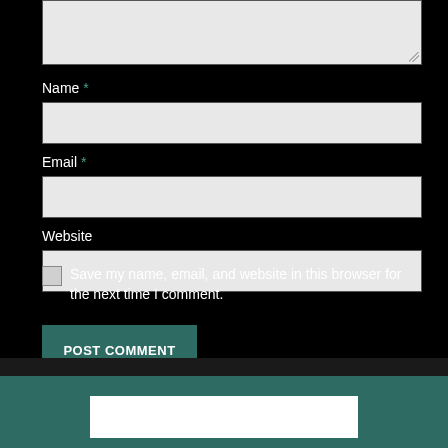Name *
Email *
Website
Save my name, email, and website in this browser for the next time I comment.
POST COMMENT
SEARCH ...